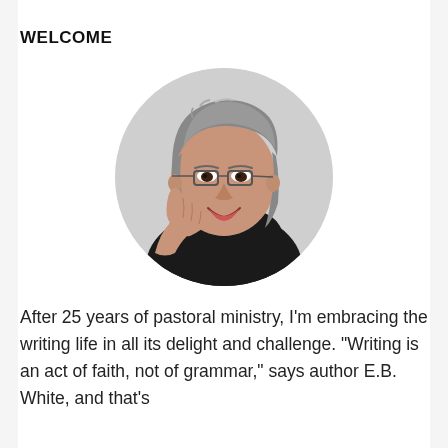WELCOME
[Figure (photo): Circular portrait photo of an Asian woman with short gray hair and glasses, wearing a dark top, resting her chin/cheek on her hand and smiling. Photo has a light gray/white background.]
After 25 years of pastoral ministry, I'm embracing the writing life in all its delight and challenge. "Writing is an act of faith, not of grammar," says author E.B. White, and that's